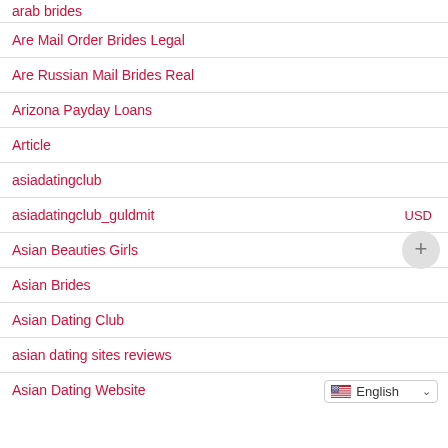arab brides
Are Mail Order Brides Legal
Are Russian Mail Brides Real
Arizona Payday Loans
Article
asiadatingclub
asiadatingclub_guldmit
Asian Beauties Girls
Asian Brides
Asian Dating Club
asian dating sites reviews
Asian Dating Website